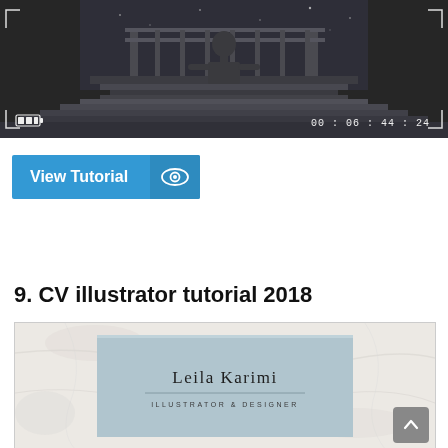[Figure (screenshot): Video screenshot showing a dark, moody animation frame with a silhouetted figure on a platform/dock at night, with a battery indicator (full) in bottom-left corner and timecode 00:06:44:24 in bottom-right corner.]
[Figure (other): Blue 'View Tutorial' button with eye icon on the right side.]
9. CV illustrator tutorial 2018
[Figure (screenshot): Preview image of a CV design for 'Leila Karimi, Illustrator & Designer' with a light blue-grey panel on a marble/stone background texture.]